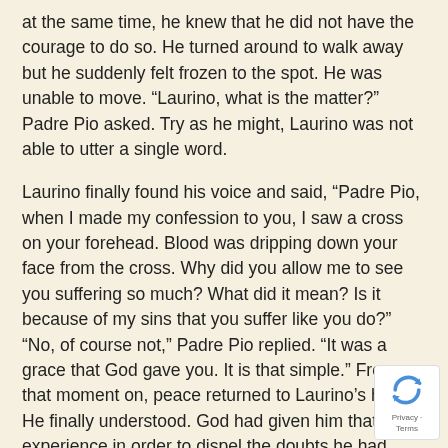at the same time, he knew that he did not have the courage to do so. He turned around to walk away but he suddenly felt frozen to the spot. He was unable to move. “Laurino, what is the matter?” Padre Pio asked. Try as he might, Laurino was not able to utter a single word.
Laurino finally found his voice and said, “Padre Pio, when I made my confession to you, I saw a cross on your forehead. Blood was dripping down your face from the cross. Why did you allow me to see you suffering so much? What did it mean? Is it because of my sins that you suffer like you do?” “No, of course not,” Padre Pio replied. “It was a grace that God gave you. It is that simple.” From that moment on, peace returned to Laurino’s heart. He finally understood. God had given him that experience in order to dispel the doubts he had about Padre Pio’s sanctity. After speaking to Padre Pio, the doubts vanished and never returned.